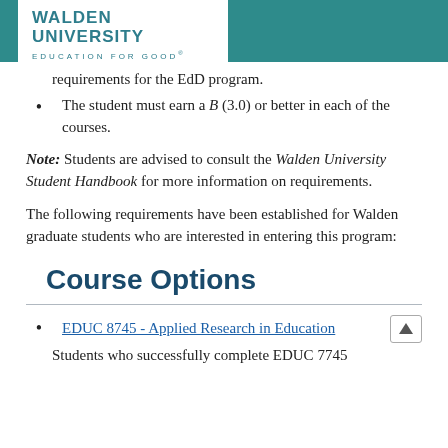[Figure (logo): Walden University logo with teal header bar. Logo shows 'WALDEN UNIVERSITY' and 'EDUCATION FOR GOOD' tagline on white background.]
requirements for the EdD program.
The student must earn a B (3.0) or better in each of the courses.
Note: Students are advised to consult the Walden University Student Handbook for more information on requirements.
The following requirements have been established for Walden graduate students who are interested in entering this program:
Course Options
EDUC 8745 - Applied Research in Education
Students who successfully complete EDUC 7745